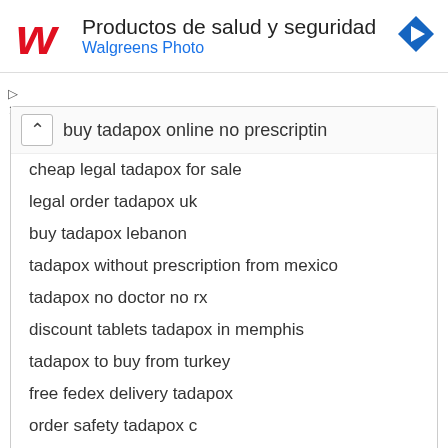[Figure (logo): Walgreens logo in red with text 'Productos de salud y seguridad' and 'Walgreens Photo' and a blue navigation arrow icon]
buy tadapox online no prescriptin
cheap legal tadapox for sale
legal order tadapox uk
buy tadapox lebanon
tadapox without prescription from mexico
tadapox no doctor no rx
discount tablets tadapox in memphis
tadapox to buy from turkey
free fedex delivery tadapox
order safety tadapox c
ordering online tadapox non prescription
buy legitimate tadapox
where can i order tadapox
tadapox order from canada
tadapox without prescription